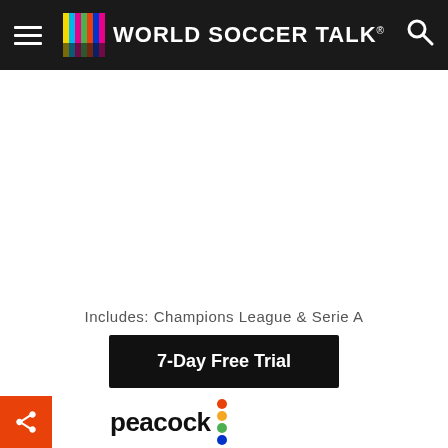World Soccer Talk
[Figure (screenshot): Advertisement zone - white/blank area]
Includes: Champions League & Serie A
7-Day Free Trial
[Figure (logo): Peacock streaming service logo with colorful dots]